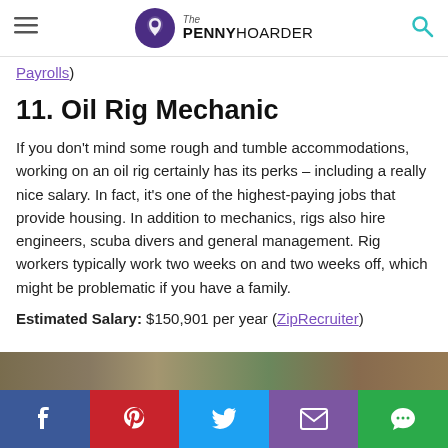The PENNY HOARDER
Payrolls)
11. Oil Rig Mechanic
If you don't mind some rough and tumble accommodations, working on an oil rig certainly has its perks – including a really nice salary. In fact, it's one of the highest-paying jobs that provide housing. In addition to mechanics, rigs also hire engineers, scuba divers and general management. Rig workers typically work two weeks on and two weeks off, which might be problematic if you have a family.
Estimated Salary: $150,901 per year (ZipRecruiter)
[Figure (photo): Partial view of images at the bottom of the article]
Social sharing bar: Facebook, Pinterest, Twitter, Email, Chat